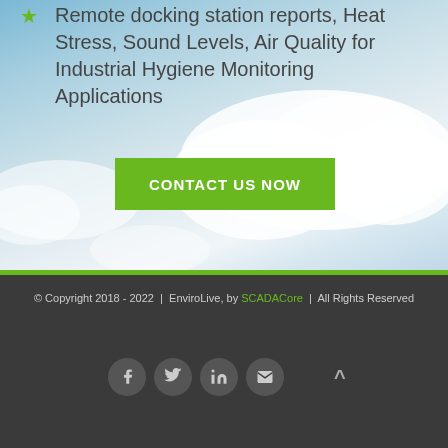Remote docking station reports, Heat Stress, Sound Levels, Air Quality for Industrial Hygiene Monitoring Applications
CONTACT US NOW
© Copyright 2018 - 2022 | EnviroLive, by SCADACore | All Rights Reserved
[Figure (other): Social media icons: Facebook, Twitter, LinkedIn, Email, and an up-arrow scroll-to-top button]